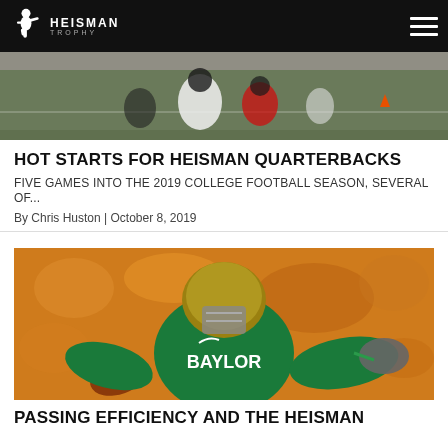Heisman Trophy
[Figure (photo): Football game photo showing players on field, top portion cropped]
HOT STARTS FOR HEISMAN QUARTERBACKS
FIVE GAMES INTO THE 2019 COLLEGE FOOTBALL SEASON, SEVERAL OF...
By Chris Huston | October 8, 2019
[Figure (photo): Baylor football player in green jersey holding a football, wearing gold helmet, celebrating]
PASSING EFFICIENCY AND THE HEISMAN